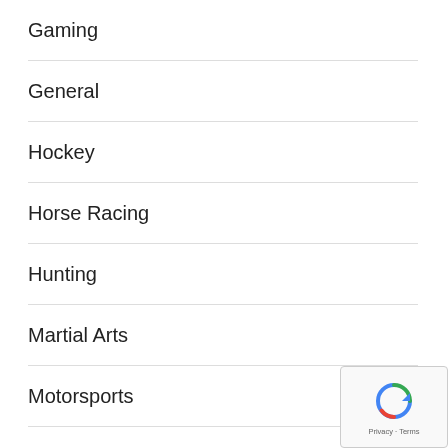Gaming
General
Hockey
Horse Racing
Hunting
Martial Arts
Motorsports
Skydiving
Sports
Swimming